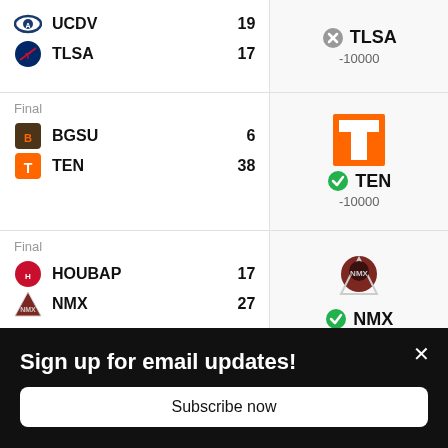| Team | Score | Pick | Odds |
| --- | --- | --- | --- |
| UCDV | 19 | TLSA | -10000 |
| TLSA | 17 |  |  |
| BGSU | 6 | TEN | -10000 |
| TEN | 38 |  |  |
| HOUBAP | 17 | NMX | -1400 |
| NMX | 27 |  |  |
Sign up for email updates!
Subscribe now